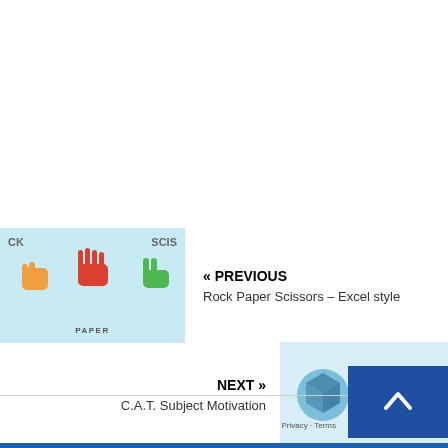[Figure (illustration): Previous navigation block: thumbnail image of Rock Paper Scissors Excel game (light blue background with hand icon and PAPER label), with PREVIOUS label and title 'Rock Paper Scissors – Excel style']
[Figure (illustration): Next navigation block: thumbnail showing Computer Applications Technology logo text on light blue background, with NEXT label and title 'C.A.T. Subject Motivation']
Privacy · Terms